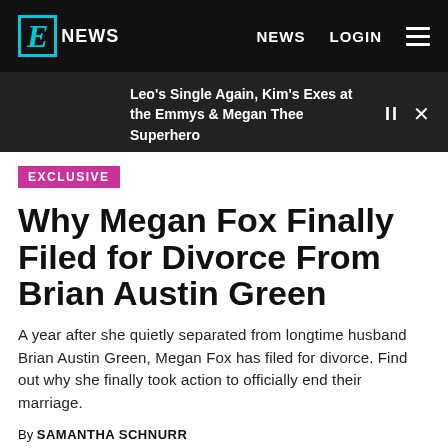E! NEWS   NEWS   LOGIN
Leo's Single Again, Kim's Exes at the Emmys & Megan Thee Superhero
EXCLUSIVE
Why Megan Fox Finally Filed for Divorce From Brian Austin Green
A year after she quietly separated from longtime husband Brian Austin Green, Megan Fox has filed for divorce. Find out why she finally took action to officially end their marriage.
By SAMANTHA SCHNURR
NOV 30, 2020 10:49 PM   TAGS